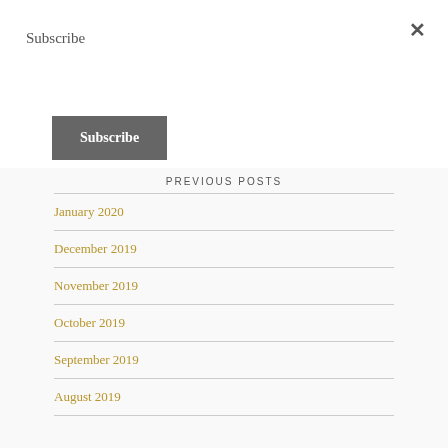Subscribe
Subscribe
PREVIOUS POSTS
January 2020
December 2019
November 2019
October 2019
September 2019
August 2019